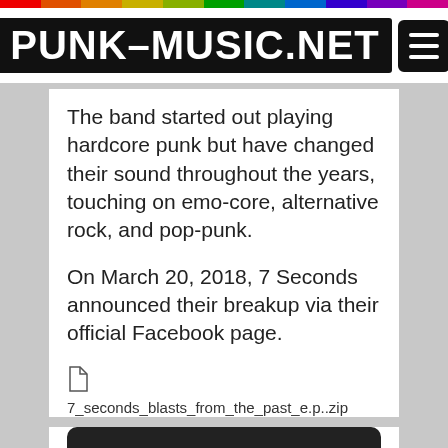PUNK-MUSIC.NET
The band started out playing hardcore punk but have changed their sound throughout the years, touching on emo-core, alternative rock, and pop-punk.
On March 20, 2018, 7 Seconds announced their breakup via their official Facebook page.
7_seconds_blasts_from_the_past_e.p..zip
DOWNLOAD THIS ALBUM